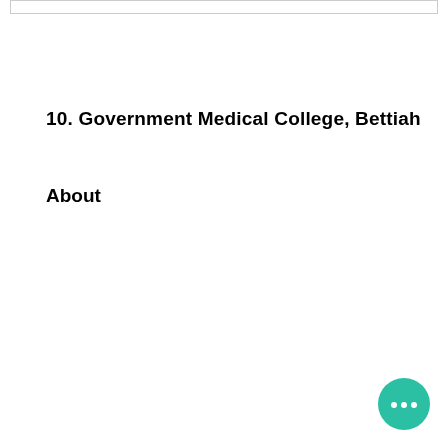10. Government Medical College, Bettiah
About
[Figure (other): Chat bubble widget icon — teal circle with three dots indicating a messaging interface]